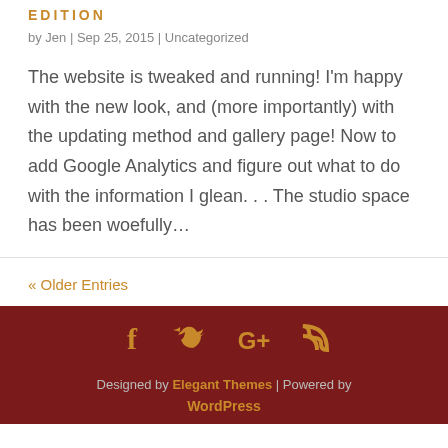Edition
by Jen | Sep 25, 2015 | Uncategorized
The website is tweaked and running! I'm happy with the new look, and (more importantly) with the updating method and gallery page! Now to add Google Analytics and figure out what to do with the information I glean. . . The studio space has been woefully…
« Older Entries
Designed by Elegant Themes | Powered by WordPress